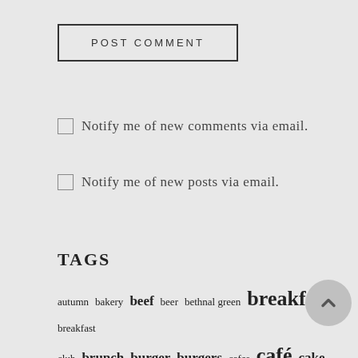[Figure (other): POST COMMENT button with border]
Notify me of new comments via email.
Notify me of new posts via email.
TAGS
autumn bakery beef beer bethnal green breakfast breakfast club brunch burger burgers cafes café cake chinese chocolate cinnamon Coffee (JP) cooking covent gard... cuisine curry dessert dinner drink eating out eat